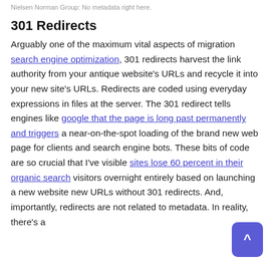Nielsen Norman Group: No metadata right here.
301 Redirects
Arguably one of the maximum vital aspects of migration search engine optimization, 301 redirects harvest the link authority from your antique website's URLs and recycle it into your new site's URLs. Redirects are coded using everyday expressions in files at the server. The 301 redirect tells engines like google that the page is long past permanently and triggers a near-on-the-spot loading of the brand new web page for clients and search engine bots. These bits of code are so crucial that I've visible sites lose 60 percent in their organic search visitors overnight entirely based on launching a new website new URLs without 301 redirects. And, importantly, redirects are not related to metadata. In reality, there's a